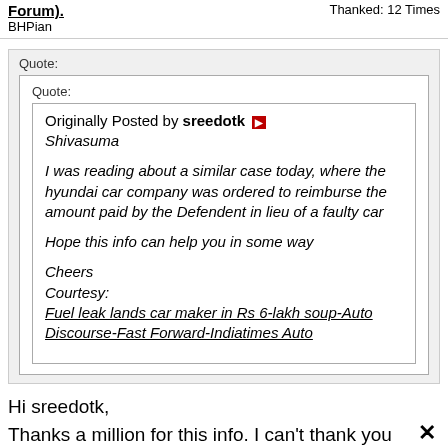Forum). BHPian | Thanked: 12 Times
Quote: Quote: Originally Posted by sreedotk
Shivasuma

I was reading about a similar case today, where the hyundai car company was ordered to reimburse the amount paid by the Defendent in lieu of a faulty car

Hope this info can help you in some way

Cheers
Courtesy:
Fuel leak lands car maker in Rs 6-lakh soup-Auto Discourse-Fast Forward-Indiatimes Auto
Hi sreedotk,

Thanks a million for this info. I can't thank you enough because these are the precise words I have used in my complaint against Tata Motors for the defective Sumo Victa GXTC that they have sold to me. This would make an icing